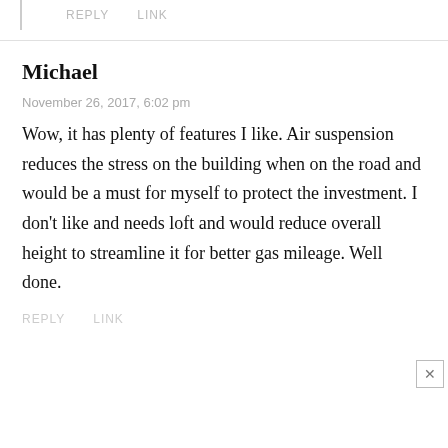REPLY    LINK
Michael
November 26, 2017, 6:02 pm
Wow, it has plenty of features I like. Air suspension reduces the stress on the building when on the road and would be a must for myself to protect the investment. I don't like and needs loft and would reduce overall height to streamline it for better gas mileage. Well done.
REPLY    LINK